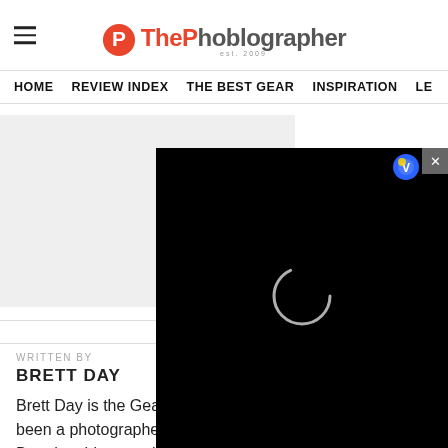ThePhoblographer est. 2009
HOME   REVIEW INDEX   THE BEST GEAR   INSPIRATION   LE...
[Figure (screenshot): Video player overlay on black background with circular loading spinner and close button (X). A Bing/browser icon visible in top right.]
WRITTEN BY
BRETT DAY
Brett Day is the Gear Editor at The Phoblographer and has been a photographer for as long as he can remember. Brett has his own photography